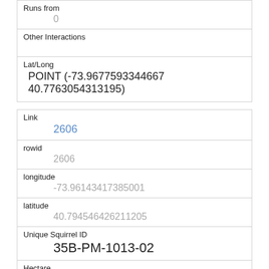| Runs from | 0 |
| Other Interactions |  |
| Lat/Long | POINT (-73.9677593344667 40.7763054313195) |
| Link | 2606 |
| rowid | 2606 |
| longitude | -73.96143417385001 |
| latitude | 40.794546426211205 |
| Unique Squirrel ID | 35B-PM-1013-02 |
| Hectare | 35B |
| Shift |  |